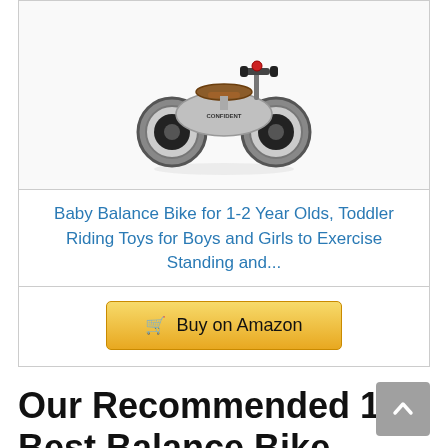[Figure (photo): Baby balance bike product photo — a small grey tricycle-style balance bike with a brown leather seat, black handlebar grips, and large grey/black wheels, on white background. Brand name 'CONFIDENT' visible on frame.]
Baby Balance Bike for 1-2 Year Olds, Toddler Riding Toys for Boys and Girls to Exercise Standing and...
Buy on Amazon
Our Recommended 10 Best Balance Bike Review 2 Year Old Uk Reviews 2022